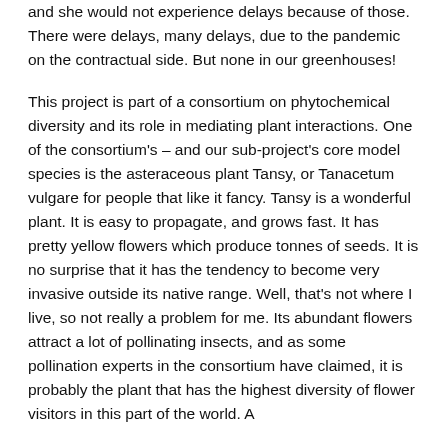and she would not experience delays because of those. There were delays, many delays, due to the pandemic on the contractual side. But none in our greenhouses!
This project is part of a consortium on phytochemical diversity and its role in mediating plant interactions. One of the consortium's – and our sub-project's core model species is the asteraceous plant Tansy, or Tanacetum vulgare for people that like it fancy. Tansy is a wonderful plant. It is easy to propagate, and grows fast. It has pretty yellow flowers which produce tonnes of seeds. It is no surprise that it has the tendency to become very invasive outside its native range. Well, that's not where I live, so not really a problem for me. Its abundant flowers attract a lot of pollinating insects, and as some pollination experts in the consortium have claimed, it is probably the plant that has the highest diversity of flower visitors in this part of the world. A